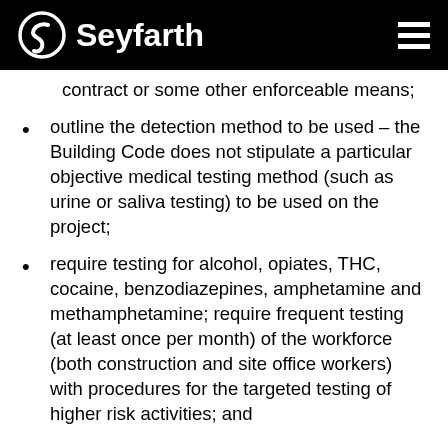Seyfarth
contract or some other enforceable means;
outline the detection method to be used – the Building Code does not stipulate a particular objective medical testing method (such as urine or saliva testing) to be used on the project;
require testing for alcohol, opiates, THC, cocaine, benzodiazepines, amphetamine and methamphetamine; require frequent testing (at least once per month) of the workforce (both construction and site office workers) with procedures for the targeted testing of higher risk activities; and